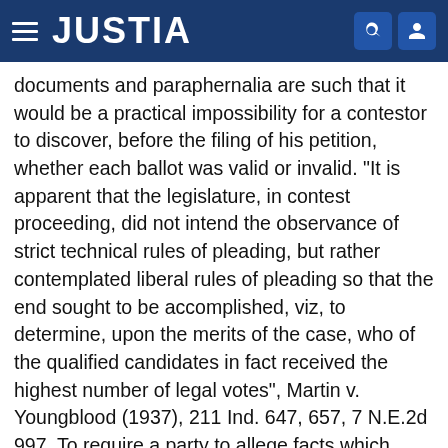JUSTIA
documents and paraphernalia are such that it would be a practical impossibility for a contestor to discover, before the filing of his petition, whether each ballot was valid or invalid. "It is apparent that the legislature, in contest proceeding, did not intend the observance of strict technical rules of pleading, but rather contemplated liberal rules of pleading so that the end sought to be accomplished, viz, to determine, upon the merits of the case, who of the qualified candidates in fact received the highest number of legal votes", Martin v. Youngblood (1937), 211 Ind. 647, 657, 7 N.E.2d 997. To require a party to allege facts which could not well be in his possession, or reasonably discoverable by him, would tend to nullify the law itself. See Goecker v. McOsker (1912), 177 Ind. 607, 98 N.E. 724. The sufficiency of the complaint was in no way challenged. No question concerning the admission of evidence arose under it. It